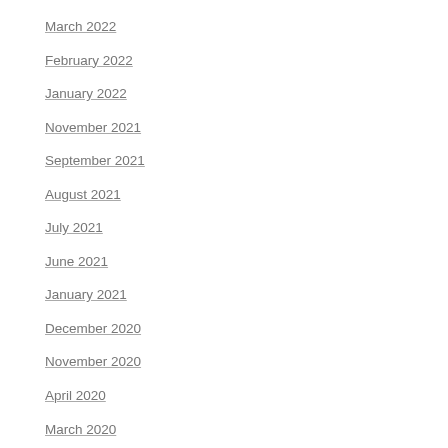March 2022
February 2022
January 2022
November 2021
September 2021
August 2021
July 2021
June 2021
January 2021
December 2020
November 2020
April 2020
March 2020
February 2020